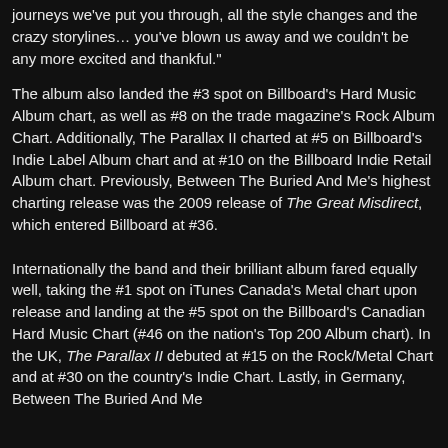journeys we've put you through, all the style changes and the crazy storylines… you've blown us away and we couldn't be any more excited and thankful."
The album also landed the #3 spot on Billboard's Hard Music Album chart, as well as #8 on the trade magazine's Rock Album Chart. Additionally, The Parallax II charted at #5 on Billboard's Indie Label Album chart and at #10 on the Billboard Indie Retail Album chart. Previously, Between The Buried And Me's highest charting release was the 2009 release of The Great Misdirect, which entered Billboard at #36.
Internationally the band and their brilliant album fared equally well, taking the #1 spot on iTunes Canada's Metal chart upon release and landing at the #5 spot on the Billboard's Canadian Hard Music Chart (#46 on the nation's Top 200 Album chart). In the UK, The Parallax II debuted at #15 on the Rock/Metal Chart and at #30 on the country's Indie Chart. Lastly, in Germany, Between The Buried And Me